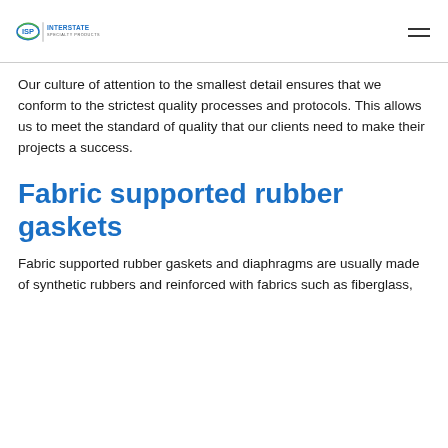ISP Interstate Specialty Products
Our culture of attention to the smallest detail ensures that we conform to the strictest quality processes and protocols. This allows us to meet the standard of quality that our clients need to make their projects a success.
Fabric supported rubber gaskets
Fabric supported rubber gaskets and diaphragms are usually made of synthetic rubbers and reinforced with fabrics such as fiberglass,